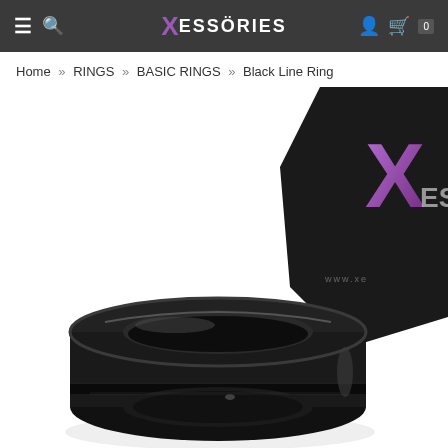Xessories – navigation header with hamburger menu, search, logo, user icon, cart (0)
Home » RINGS » BASIC RINGS » Black Line Ring
[Figure (photo): Product photo of a black stainless steel ring with a center groove line, shown against a white background with a black Xessories branded box partially visible in the upper right corner.]